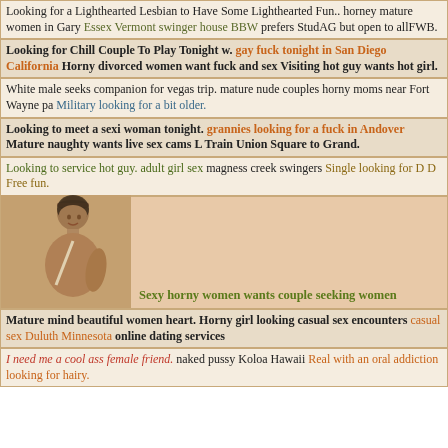Looking for a Lighthearted Lesbian to Have Some Lighthearted Fun.. horney mature women in Gary Essex Vermont swinger house BBW prefers StudAG but open to allFWB.
Looking for Chill Couple To Play Tonight w. gay fuck tonight in San Diego California Horny divorced women want fuck and sex Visiting hot guy wants hot girl.
White male seeks companion for vegas trip. mature nude couples horny moms near Fort Wayne pa Military looking for a bit older.
Looking to meet a sexi woman tonight. grannies looking for a fuck in Andover Mature naughty wants live sex cams L Train Union Square to Grand.
Looking to service hot guy. adult girl sex magness creek swingers Single looking for D D Free fun.
[Figure (photo): Sepia-toned vintage photo of a woman. Caption: Sexy horny women wants couple seeking women]
Mature mind beautiful women heart. Horny girl looking casual sex encounters casual sex Duluth Minnesota online dating services
I need me a cool ass female friend. naked pussy Koloa Hawaii Real with an oral addiction looking for hairy.